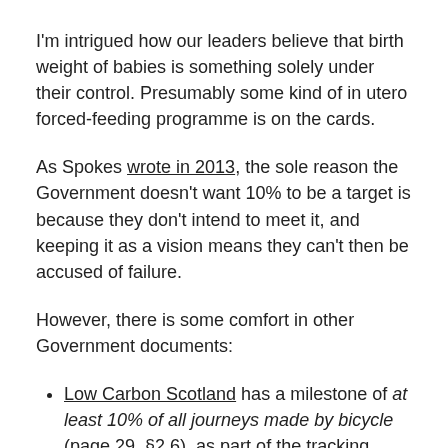I'm intrigued how our leaders believe that birth weight of babies is something solely under their control. Presumably some kind of in utero forced-feeding programme is on the cards.
As Spokes wrote in 2013, the sole reason the Government doesn't want 10% to be a target is because they don't intend to meet it, and keeping it as a vision means they can't then be accused of failure.
However, there is some comfort in other Government documents:
Low Carbon Scotland has a milestone of at least 10% of all journeys made by bicycle (page 29, §2.6), as part of the tracking measures to meet the Climate Change (Scotland) Act.
Preventing Overweight [sic] and Obesity in Scotland includes [the CAP] proposes that by